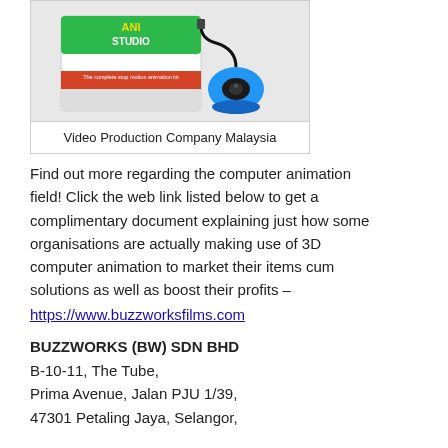[Figure (photo): Animation studio product box with a blue USB camera/microphone device on top, labeled as animation studio kit. Below the image is a caption bar reading 'Video Production Company Malaysia'.]
Find out more regarding the computer animation field! Click the web link listed below to get a complimentary document explaining just how some organisations are actually making use of 3D computer animation to market their items cum solutions as well as boost their profits – https://www.buzzworksfilms.com
BUZZWORKS (BW) SDN BHD
B-10-11, The Tube,
Prima Avenue, Jalan PJU 1/39,
47301 Petaling Jaya, Selangor,